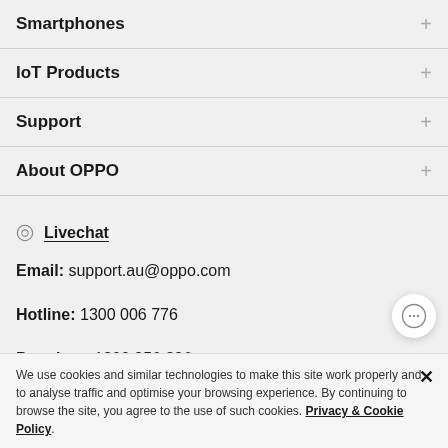Smartphones +
IoT Products +
Support +
About OPPO +
Livechat
Email: support.au@oppo.com
Hotline: 1300 006 776
Premium: 1800 956 396
We use cookies and similar technologies to make this site work properly and to analyse traffic and optimise your browsing experience. By continuing to browse the site, you agree to the use of such cookies. Privacy & Cookie Policy.